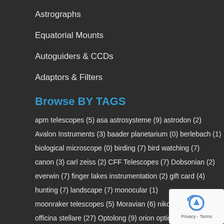Astrographs
Equatorial Mounts
Autoguiders & CCDs
Adaptors & Filters
Browse BY TAGS
apm telescopes (5) asa astrosysteme (9) astrodon (2)
Avalon Instruments (3) baader planetarium (0) berlebach (1)
biological microscope (0) birding (7) bird watching (7)
canon (3) carl zeiss (2) CFF Telescopes (7) Dobsonian (2)
everwin (7) finger lakes instrumentation (2) gift card (4)
hunting (7) landscape (7) monocular (1)
moonraker telescopes (5) Moravian (6) nikon (2)
officina stellare (27) Optolong (9) orion optics (15) Polari
Polemaster (1) QHYCCD (16) saxon (37)